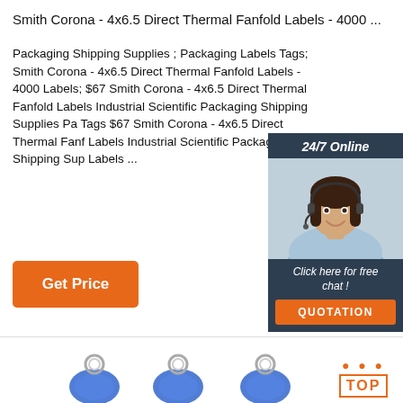Smith Corona - 4x6.5 Direct Thermal Fanfold Labels - 4000 ...
Packaging Shipping Supplies ; Packaging Labels Tags; Smith Corona - 4x6.5 Direct Thermal Fanfold Labels - 4000 Labels; $67 Smith Corona - 4x6.5 Direct Thermal Fanfold Labels Industrial Scientific Packaging Shipping Supplies Packaging Labels Tags $67 Smith Corona - 4x6.5 Direct Thermal Fanfold Labels Industrial Scientific Packaging Shipping Supplies Labels ...
[Figure (screenshot): 24/7 online chat widget with a customer service agent photo, 'Click here for free chat!' text, and QUOTATION button]
[Figure (other): Orange Get Price button]
[Figure (photo): Three blue RFID key fob tags with metal rings on a white background]
[Figure (other): Orange TOP button with decorative dots in top-right corner]